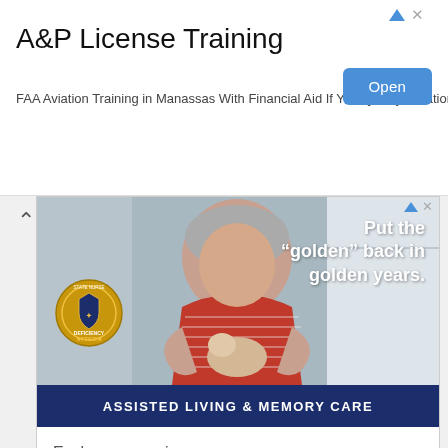A&P License Training
FAA Aviation Training in Manassas With Financial Aid If You Qualify. Aviation Institute
[Figure (screenshot): Senior living advertisement showing a woman holding a small dog with text 'Put the "golden" back in golden years.' and a deficiency free 2023 badge, blue bar reading 'ASSISTED LIVING & MEMORY CARE', and a bottom section with 'Explore our senior living options.' text, a red Schedule A Tour button, and Tribute at the Glen logo]